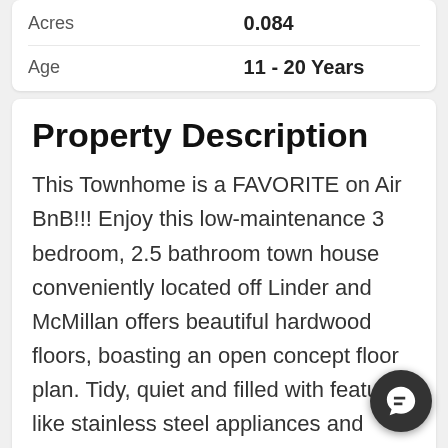| Acres | 0.084 |
| Age | 11 - 20 Years |
Property Description
This Townhome is a FAVORITE on Air BnB!!! Enjoy this low-maintenance 3 bedroom, 2.5 bathroom town house conveniently located off Linder and McMillan offers beautiful hardwood floors, boasting an open concept floor plan. Tidy, quiet and filled with features like stainless steel appliances and granite countertops, gas fireplace, and first floor patio, guest bathroom and laundry. Large master suite and two additional bedrooms upstairs. Part of Cobblefield Crossing